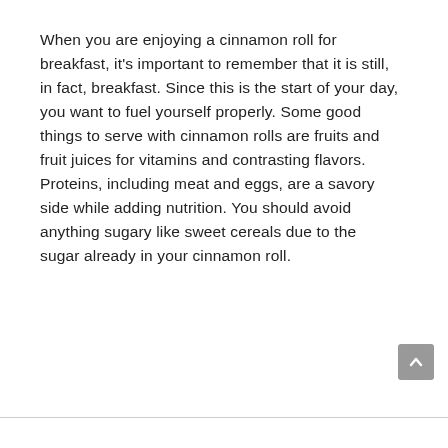When you are enjoying a cinnamon roll for breakfast, it's important to remember that it is still, in fact, breakfast. Since this is the start of your day, you want to fuel yourself properly. Some good things to serve with cinnamon rolls are fruits and fruit juices for vitamins and contrasting flavors. Proteins, including meat and eggs, are a savory side while adding nutrition. You should avoid anything sugary like sweet cereals due to the sugar already in your cinnamon roll.